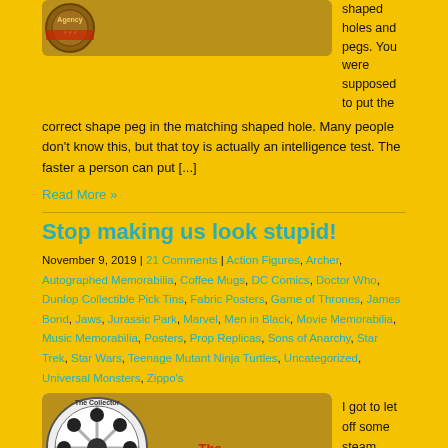[Figure (illustration): Circular badge/logo for 'Agency' with brown and red colors]
shaped holes and pegs. You were supposed to put the correct shape peg in the matching shaped hole. Many people don't know this, but that toy is actually an intelligence test. The faster a person can put [...]
Read More »
Stop making us look stupid!
November 9, 2019 | 21 Comments | Action Figures, Archer, Autographed Memorabilia, Coffee Mugs, DC Comics, Doctor Who, Dunlop Collectible Pick Tins, Fabric Posters, Game of Thrones, James Bond, Jaws, Jurassic Park, Marvel, Men in Black, Movie Memorabilia, Music Memorabilia, Posters, Prop Replicas, Sons of Anarchy, Star Trek, Star Wars, Teenage Mutant Ninja Turtles, Uncategorized, Universal Monsters, Zippo's
[Figure (illustration): Circular logo for 'The Collector' with film reel graphic, black and red colors]
I got to let off some steam toward one of my favorite Burger